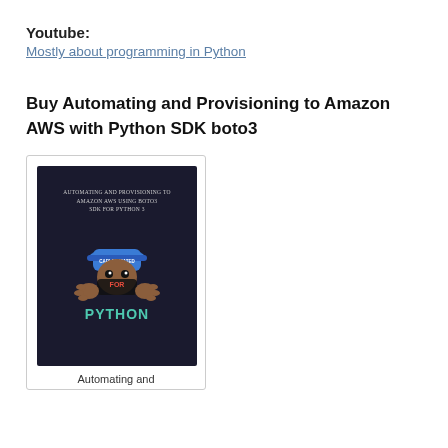Youtube: Mostly about programming in Python
Buy Automating and Provisioning to Amazon AWS with Python SDK boto3
[Figure (illustration): Book cover for 'Automating and Provisioning to Amazon AWS using boto3 SDK for Python 3', dark background with a cartoon character wearing a blue cap holding a sign saying FOR PYTHON in teal letters]
Automating and